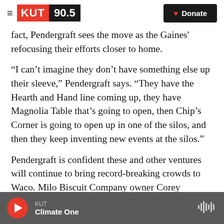KUT 90.5 | Donate
fact, Pendergraft sees the move as the Gaines' refocusing their efforts closer to home.
“I can’t imagine they don’t have something else up their sleeve,” Pendergraft says. “They have the Hearth and Hand line coming up, they have Magnolia Table that’s going to open, then Chip’s Corner is going to open up in one of the silos, and then they keep inventing new events at the silos.”
Pendergraft is confident these and other ventures will continue to bring record-breaking crowds to Waco. Milo Biscuit Company owner Corey
KUT | Climate One